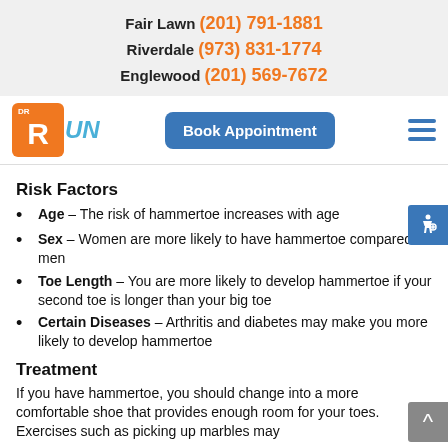Fair Lawn (201) 791-1881
Riverdale (973) 831-1774
Englewood (201) 569-7672
[Figure (logo): Dr. Run logo with orange box, runner icon, and teal 'UN' text]
Book Appointment
Risk Factors
Age – The risk of hammertoe increases with age
Sex – Women are more likely to have hammertoe compared to men
Toe Length – You are more likely to develop hammertoe if your second toe is longer than your big toe
Certain Diseases – Arthritis and diabetes may make you more likely to develop hammertoe
Treatment
If you have hammertoe, you should change into a more comfortable shoe that provides enough room for your toes. Exercises such as picking up marbles may